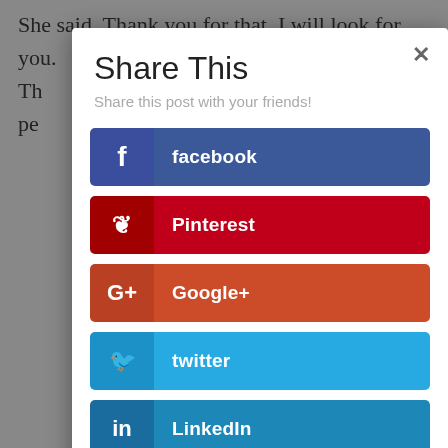She said  Thank you for that. I will look for you. Th... pe...
Share This
Share this post with your friends!
facebook
Pinterest
Google+
twitter
LinkedIn
Gmail